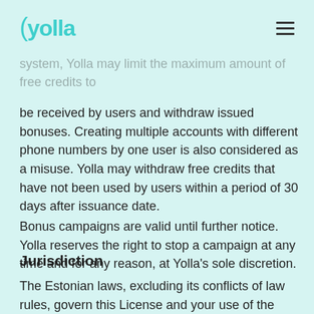Yolla (logo) — navigation header
refundable, non-transferable and can't be converted in order to prevent fraudulent usage, misuse, and taking advantage of the referral system, Yolla may limit the maximum amount of free credits to be received by users and withdraw issued bonuses. Creating multiple accounts with different phone numbers by one user is also considered as a misuse. Yolla may withdraw free credits that have not been used by users within a period of 30 days after issuance date.
Bonus campaigns are valid until further notice. Yolla reserves the right to stop a campaign at any time and for any reason, at Yolla's sole discretion.
Jurisdiction
The Estonian laws, excluding its conflicts of law rules, govern this License and your use of the Licensed Application. You expressly agree that the courts in Tallinn have exclusive jurisdiction over any claim or